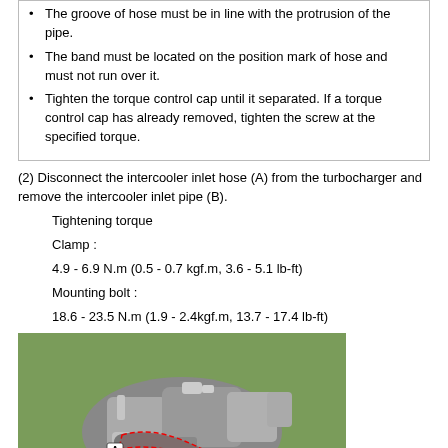The groove of hose must be in line with the protrusion of the pipe.
The band must be located on the position mark of hose and must not run over it.
Tighten the torque control cap until it separated. If a torque control cap has already removed, tighten the screw at the specified torque.
(2) Disconnect the intercooler inlet hose (A) from the turbocharger and remove the intercooler inlet pipe (B).
Tightening torque
Clamp :
4.9 - 6.9 N.m (0.5 - 0.7 kgf.m, 3.6 - 5.1 lb-ft)
Mounting bolt :
18.6 - 23.5 N.m (1.9 - 2.4kgf.m, 13.7 - 17.4 lb-ft)
[Figure (photo): Engine photo on green background showing intercooler inlet hose (A) highlighted with dashed red outline and label A near the hose connection point on the turbocharger area.]